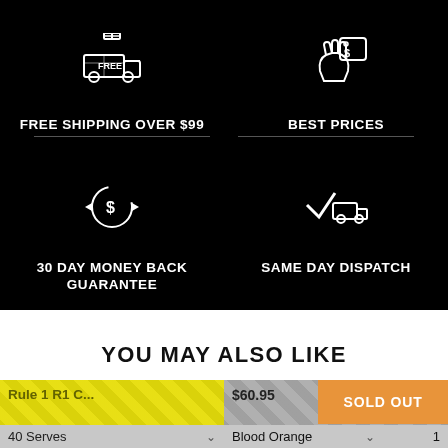[Figure (infographic): Free shipping truck icon with gift bow on black background]
FREE SHIPPING OVER $99
[Figure (infographic): Thumbs up with dollar tag icon on black background]
BEST PRICES
[Figure (infographic): Dollar coin with circular arrows (money back) icon on black background]
30 DAY MONEY BACK GUARANTEE
[Figure (infographic): Delivery truck with checkmark icon on black background]
SAME DAY DISPATCH
YOU MAY ALSO LIKE
Rule 1 R1 C...
40 Serves
$60.95
SOLD OUT
Blood Orange
1